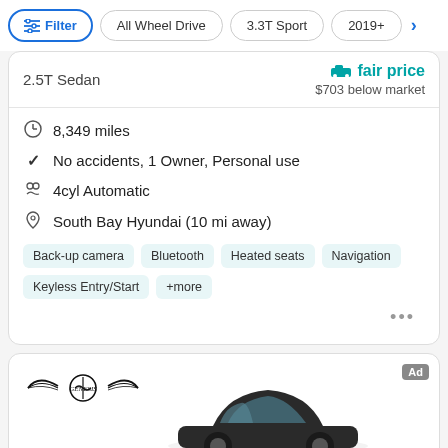Filter | All Wheel Drive | 3.3T Sport | 2019+
2.5T Sedan
fair price
$703 below market
8,349 miles
No accidents, 1 Owner, Personal use
4cyl Automatic
South Bay Hyundai (10 mi away)
Back-up camera  Bluetooth  Heated seats  Navigation  Keyless Entry/Start  +more
[Figure (logo): Genesis brand logo with wings]
[Figure (photo): Side view of a Genesis sedan car]